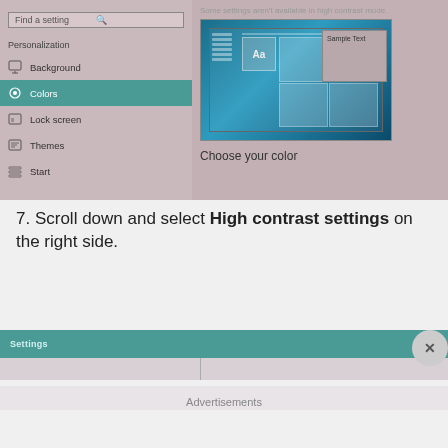[Figure (screenshot): Windows 10 Settings screenshot showing Personalization panel with Colors selected (teal highlight), left nav showing Background, Colors, Lock screen, Themes, Start. Right side shows color preview with 'Aa' and 'Sample Text' box, and 'Choose your color' label.]
7. Scroll down and select High contrast settings on the right side.
[Figure (screenshot): Windows Settings window with teal title bar showing 'Settings' text, with a vertical divider and close (X) button on the right.]
Advertisements